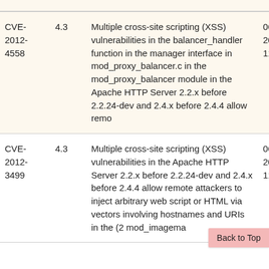| CVE ID | Score | Description | Date |
| --- | --- | --- | --- |
| CVE-2012-4558 | 4.3 | Multiple cross-site scripting (XSS) vulnerabilities in the balancer_handler function in the manager interface in mod_proxy_balancer.c in the mod_proxy_balancer module in the Apache HTTP Server 2.2.x before 2.2.24-dev and 2.4.x before 2.4.4 allow remo | 06 20 11 |
| CVE-2012-3499 | 4.3 | Multiple cross-site scripting (XSS) vulnerabilities in the Apache HTTP Server 2.2.x before 2.2.24-dev and 2.4.x before 2.4.4 allow remote attackers to inject arbitrary web script or HTML via vectors involving hostnames and URIs in the (2 mod_imagema | 06 20 11 |